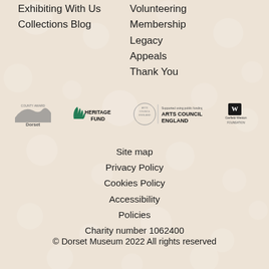Exhibiting With Us
Collections Blog
Volunteering
Membership
Legacy
Appeals
Thank You
[Figure (logo): Dorset logo, Heritage Fund lottery logo, Arts Council England logo, Garfield Weston Foundation logo]
Site map
Privacy Policy
Cookies Policy
Accessibility
Policies
Charity number 1062400
© Dorset Museum 2022 All rights reserved